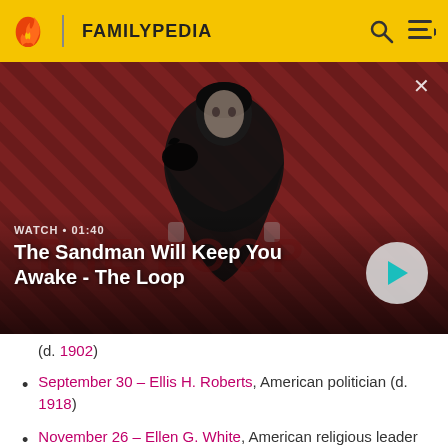FAMILYPEDIA
[Figure (screenshot): Video thumbnail for 'The Sandman Will Keep You Awake - The Loop' with a dark figure wearing a cape and a raven on shoulder against diagonal stripe background. Shows WATCH • 01:40 label and play button.]
(d. 1902)
September 30 – Ellis H. Roberts, American politician (d. 1918)
November 26 – Ellen G. White, American religious leader (d. 1915)
3 December - Jain Acharya Rajendrasuri, et